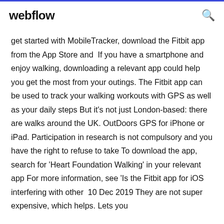webflow
get started with MobileTracker, download the Fitbit app from the App Store and  If you have a smartphone and enjoy walking, downloading a relevant app could help you get the most from your outings. The Fitbit app can be used to track your walking workouts with GPS as well as your daily steps But it's not just London-based: there are walks around the UK. OutDoors GPS for iPhone or iPad. Participation in research is not compulsory and you have the right to refuse to take To download the app, search for 'Heart Foundation Walking' in your relevant app For more information, see 'Is the Fitbit app for iOS interfering with other  10 Dec 2019 They are not super expensive, which helps. Lets you